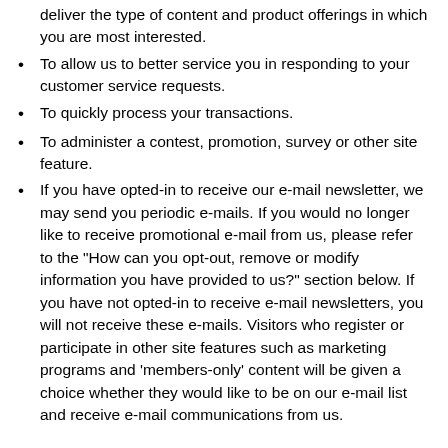deliver the type of content and product offerings in which you are most interested.
To allow us to better service you in responding to your customer service requests.
To quickly process your transactions.
To administer a contest, promotion, survey or other site feature.
If you have opted-in to receive our e-mail newsletter, we may send you periodic e-mails. If you would no longer like to receive promotional e-mail from us, please refer to the "How can you opt-out, remove or modify information you have provided to us?" section below. If you have not opted-in to receive e-mail newsletters, you will not receive these e-mails. Visitors who register or participate in other site features such as marketing programs and 'members-only' content will be given a choice whether they would like to be on our e-mail list and receive e-mail communications from us.